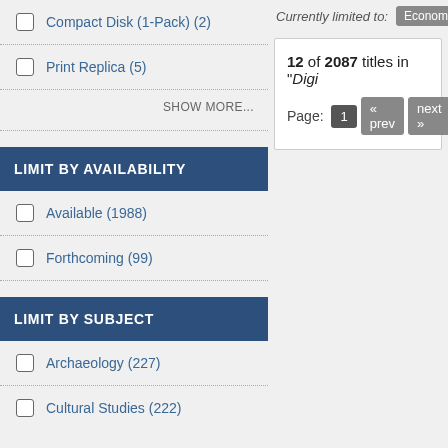Compact Disk (1-Pack) (2)
Print Replica (5)
SHOW MORE...
LIMIT BY AVAILABILITY
Available (1988)
Forthcoming (99)
LIMIT BY SUBJECT
Archaeology (227)
Cultural Studies (222)
Currently limited to: Economics,
12 of 2087 titles in "Digi
Page: 1 « prev next »